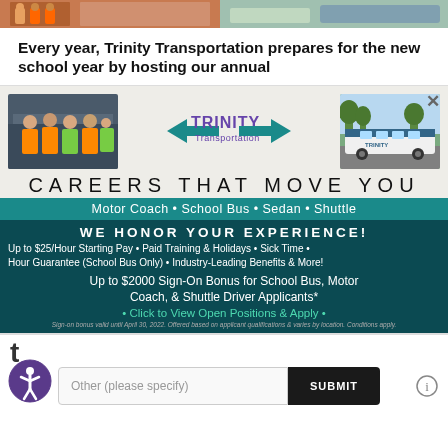[Figure (photo): Two photo strips at top of page — left shows people in orange hi-vis vests, right shows a scenic outdoor photo]
Every year, Trinity Transportation prepares for the new school year by hosting our annual
[Figure (infographic): Trinity Transportation advertisement: photos of workers and bus, Trinity Transportation logo, CAREERS THAT MOVE YOU tagline, Motor Coach • School Bus • Sedan • Shuttle, WE HONOR YOUR EXPERIENCE!, benefits text, sign-on bonus, apply link, fine print]
t
[Figure (other): Accessibility icon (person in circle)]
Other (please specify)
SUBMIT
[Figure (other): Info icon (i in circle)]